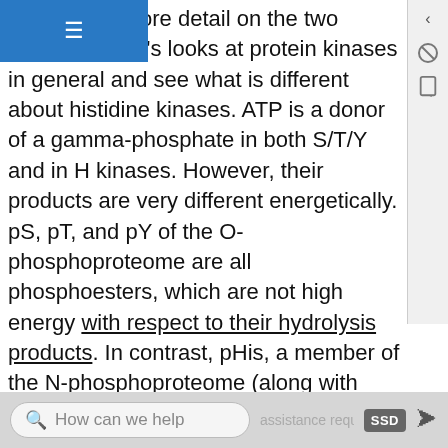we present more detail on the two components, let's looks at protein kinases in general and see what is different about histidine kinases. ATP is a donor of a gamma-phosphate in both S/T/Y and in H kinases. However, their products are very different energetically. pS, pT, and pY of the O-phosphoproteome are all phosphoesters, which are not high energy with respect to their hydrolysis products. In contrast, pHis, a member of the N-phosphoproteome (along with pLys and pArg), is not a phosphoester but more analagous to the mixed anhydride of a carboxylic acid as in the case of phosphorylated aspartic acid. In pHis and pAsp, there is an electronegative N (in pHis) and O (in pAsp) bridging two atoms which are each connected to
How can we help